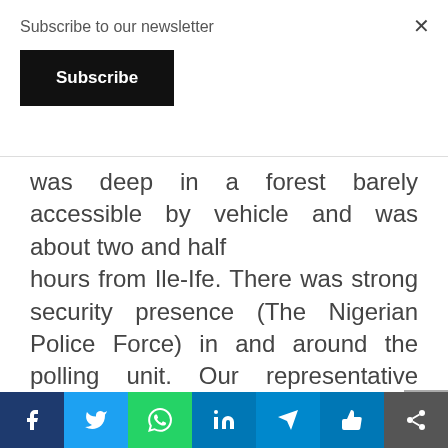Subscribe to our newsletter
Subscribe
was deep in a forest barely accessible by vehicle and was about two and half hours from Ile-Ife. There was strong security presence (The Nigerian Police Force) in and around the polling unit. Our representative observed that on his
f  [twitter]  [whatsapp]  in  [telegram]  [like]  [share]